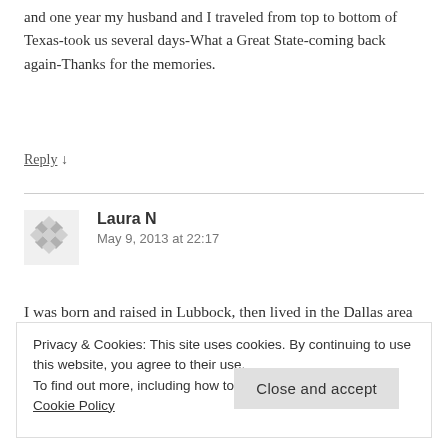and one year my husband and I traveled from top to bottom of Texas-took us several days-What a Great State-coming back again-Thanks for the memories.
Reply ↓
Laura N
May 9, 2013 at 22:17
I was born and raised in Lubbock, then lived in the Dallas area
Privacy & Cookies: This site uses cookies. By continuing to use this website, you agree to their use.
To find out more, including how to control cookies, see here: Cookie Policy
Close and accept